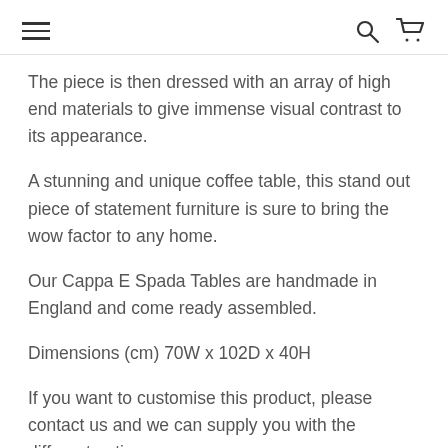[hamburger menu] [search] [cart]
The piece is then dressed with an array of high end materials to give immense visual contrast to its appearance.
A stunning and unique coffee table, this stand out piece of statement furniture is sure to bring the wow factor to any home.
Our Cappa E Spada Tables are handmade in England and come ready assembled.
Dimensions (cm) 70W x 102D x 40H
If you want to customise this product, please contact us and we can supply you with the different options